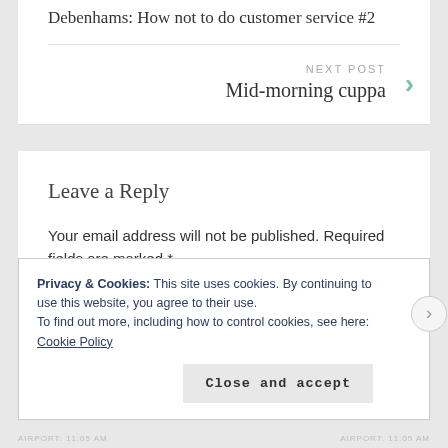Debenhams: How not to do customer service #2
NEXT POST
Mid-morning cuppa
Leave a Reply
Your email address will not be published. Required fields are marked *
Privacy & Cookies: This site uses cookies. By continuing to use this website, you agree to their use.
To find out more, including how to control cookies, see here: Cookie Policy
Close and accept